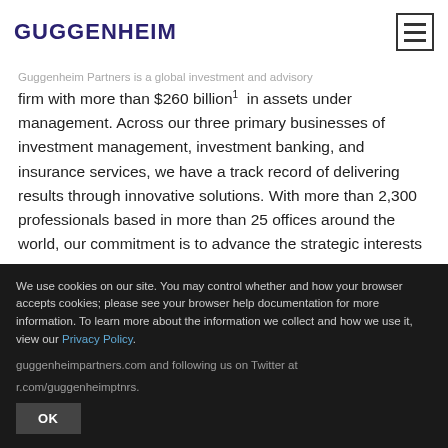GUGGENHEIM
Guggenheim Partners is a global investment and advisory firm with more than $260 billion¹ in assets under management. Across our three primary businesses of investment management, investment banking, and insurance services, we have a track record of delivering results through innovative solutions. With more than 2,300 professionals based in more than 25 offices around the world, our commitment is to advance the strategic interests of our clients and to deliver long-term results with integrity.
We use cookies on our site. You may control whether and how your browser accepts cookies; please see your browser help documentation for more information. To learn more about the information we collect and how we use it, view our Privacy Policy.